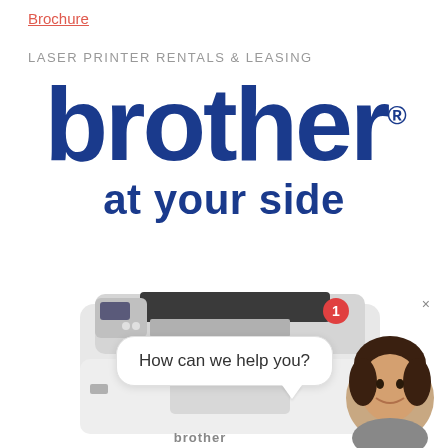Brochure
LASER PRINTER RENTALS & LEASING
[Figure (logo): Brother logo in dark blue with registered trademark symbol, tagline 'at your side']
[Figure (photo): Brother laser printer (light grey, top-loading), with chat bubble overlay saying 'How can we help you?', a red badge with number 1, a female customer service avatar, and a close X button]
How can we help you?